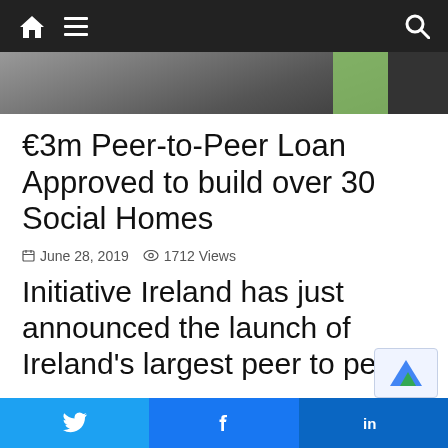[Figure (screenshot): Website navigation bar with home icon, hamburger menu on left, and search icon on right, dark background]
[Figure (photo): Partial photo visible at top showing construction worker or similar scene with hi-vis vest]
€3m Peer-to-Peer Loan Approved to build over 30 Social Homes
June 28, 2019  1712 Views
Initiative Ireland has just announced the launch of Ireland's largest peer to peer